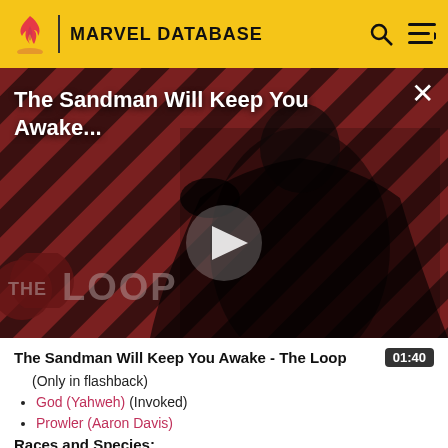MARVEL DATABASE
[Figure (screenshot): Video thumbnail for 'The Sandman Will Keep You Awake - The Loop'. Shows a figure in dark robes against a red diagonal striped background with THE LOOP watermark. A play button is visible in the center. A close (X) button is in the top right.]
The Sandman Will Keep You Awake - The Loop  01:40
(Only in flashback)
God (Yahweh) (Invoked)
Prowler (Aaron Davis)
Races and Species: